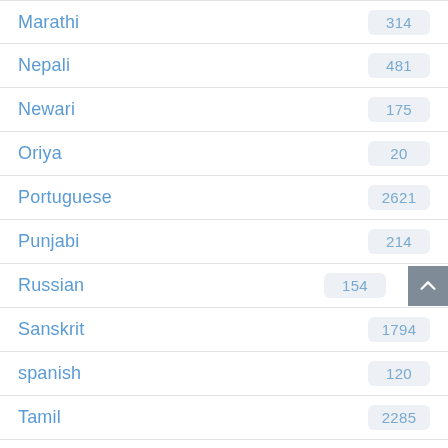Marathi 314
Nepali 481
Newari 175
Oriya 20
Portuguese 2621
Punjabi 214
Russian 154
Sanskrit 1794
spanish 120
Tamil 2285